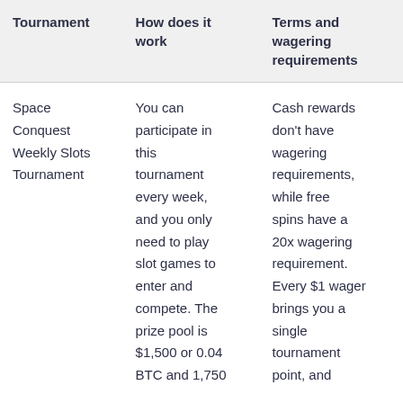| Tournament | How does it work | Terms and wagering requirements |
| --- | --- | --- |
| Space Conquest Weekly Slots Tournament | You can participate in this tournament every week, and you only need to play slot games to enter and compete. The prize pool is $1,500 or 0.04 BTC and 1,750 | Cash rewards don't have wagering requirements, while free spins have a 20x wagering requirement. Every $1 wager brings you a single tournament point, and |